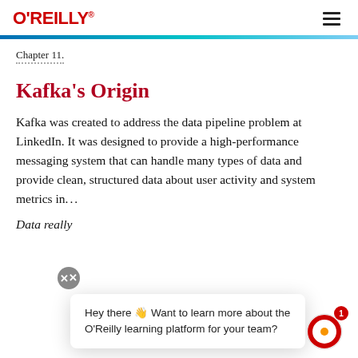O'REILLY
Chapter 11.
Kafka's Origin
Kafka was created to address the data pipeline problem at LinkedIn. It was designed to provide a high-performance messaging system that can handle many types of data and provide clean, structured data about user activity and system metrics in...
Data really...
Hey there 👋 Want to learn more about the O'Reilly learning platform for your team?